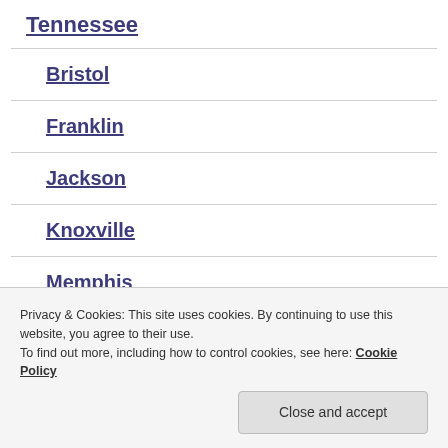Tennessee
Bristol
Franklin
Jackson
Knoxville
Memphis
Privacy & Cookies: This site uses cookies. By continuing to use this website, you agree to their use.
To find out more, including how to control cookies, see here: Cookie Policy